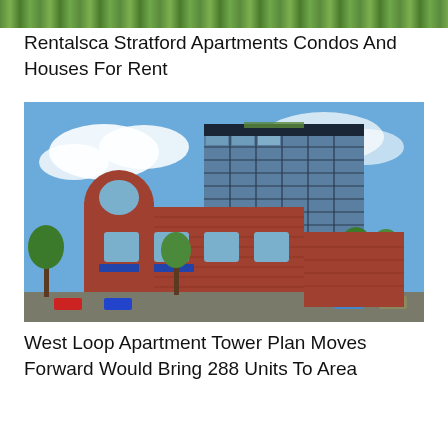[Figure (photo): Top banner image showing green foliage/grass strip]
Rentalsca Stratford Apartments Condos And Houses For Rent
[Figure (photo): Architectural rendering of a modern glass apartment tower rising behind a historic red brick building with arched windows and blue awnings, surrounded by trees and street-level activity. West Loop Chicago urban development scene.]
West Loop Apartment Tower Plan Moves Forward Would Bring 288 Units To Area